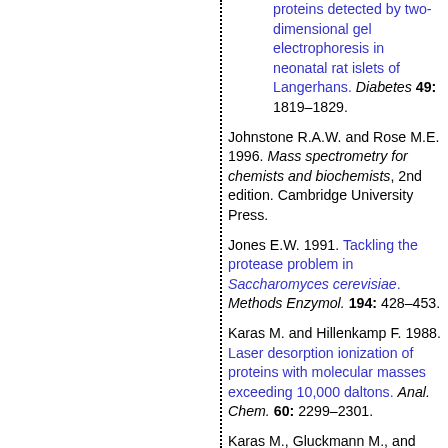proteins detected by two-dimensional gel electrophoresis in neonatal rat islets of Langerhans. Diabetes 49: 1819–1829.
Johnstone R.A.W. and Rose M.E. 1996. Mass spectrometry for chemists and biochemists, 2nd edition. Cambridge University Press.
Jones E.W. 1991. Tackling the protease problem in Saccharomyces cerevisiae. Methods Enzymol. 194: 428–453.
Karas M. and Hillenkamp F. 1988. Laser desorption ionization of proteins with molecular masses exceeding 10,000 daltons. Anal. Chem. 60: 2299–2301.
Karas M., Gluckmann M., and Schafer J. 2000.